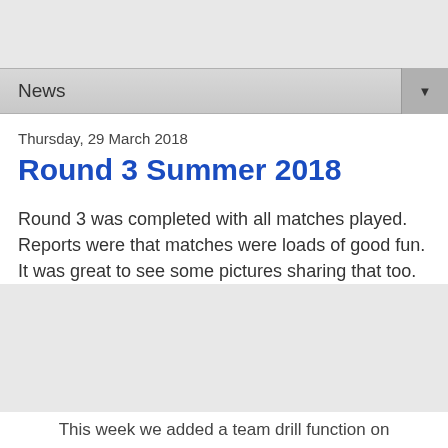News
Thursday, 29 March 2018
Round 3 Summer 2018
Round 3 was completed with all matches played. Reports were that matches were loads of good fun. It was great to see some pictures sharing that too.
This week we added a team drill function on